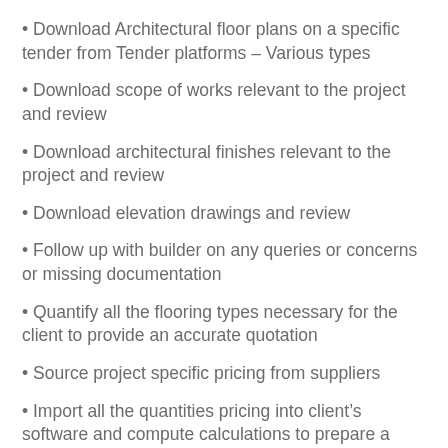Download Architectural floor plans on a specific tender from Tender platforms – Various types
Download scope of works relevant to the project and review
Download architectural finishes relevant to the project and review
Download elevation drawings and review
Follow up with builder on any queries or concerns or missing documentation
Quantify all the flooring types necessary for the client to provide an accurate quotation
Source project specific pricing from suppliers
Import all the quantities pricing into client's software and compute calculations to prepare a quotation from start to finish
Provide a complete checklist on all tenders once